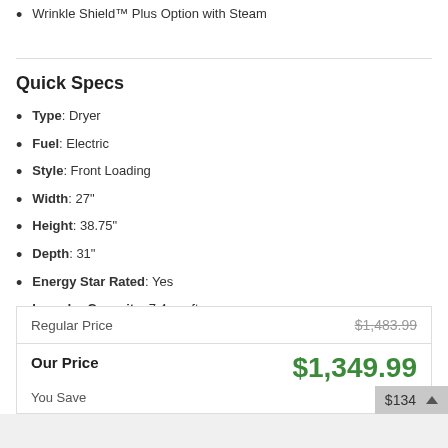Wrinkle Shield™ Plus Option with Steam
Quick Specs
Type: Dryer
Fuel: Electric
Style: Front Loading
Width: 27"
Height: 38.75"
Depth: 31"
Energy Star Rated: Yes
Laundry Capacity: 7.4 cu. ft.
High Efficiency: No
Steam Cycle: Yes
WiFi Connected: No
See More
|  | Price |
| --- | --- |
| Regular Price | $1,483.99 |
| Our Price | $1,349.99 |
| You Save | $134 |